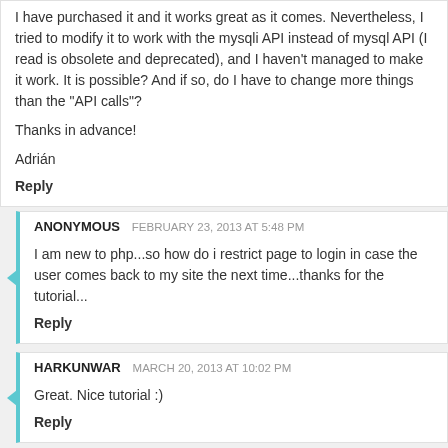I have purchased it and it works great as it comes. Nevertheless, I tried to modify it to work with the mysqli API instead of mysql API (I read is obsolete and deprecated), and I haven't managed to make it work. It is possible? And if so, do I have to change more things than the "API calls"?

Thanks in advance!

Adrián
Reply
ANONYMOUS  FEBRUARY 23, 2013 AT 5:48 PM
I am new to php...so how do i restrict page to login in case the user comes back to my site the next time...thanks for the tutorial...
Reply
HARKUNWAR  MARCH 20, 2013 AT 10:02 PM
Great. Nice tutorial :)
Reply